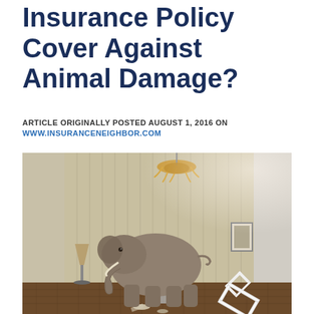Insurance Policy Cover Against Animal Damage?
ARTICLE ORIGINALLY POSTED AUGUST 1, 2016 ON WWW.INSURANCENEIGHBOR.COM
[Figure (photo): A surreal photo of an elephant standing inside a furnished room with wood-paneled walls. A chandelier hangs from the ceiling. Furniture including a white chair, a lamp, and other items are knocked over or scattered around the elephant on a herringbone parquet floor.]